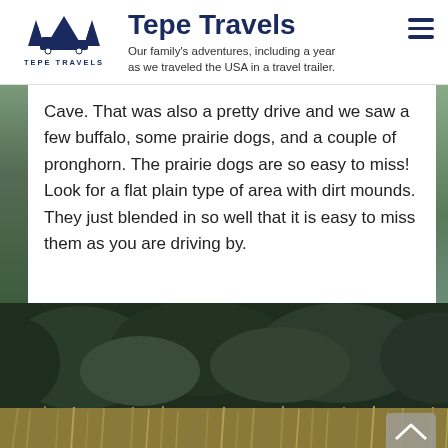Tepe Travels — Our family's adventures, including a year as we traveled the USA in a travel trailer.
Cave. That was also a pretty drive and we saw a few buffalo, some prairie dogs, and a couple of pronghorn. The prairie dogs are so easy to miss! Look for a flat plain type of area with dirt mounds. They just blended in so well that it is easy to miss them as you are driving by.
[Figure (photo): Outdoor nature photo showing tall dry grass in the foreground with dark dense forest trees in the background, wildlife setting.]